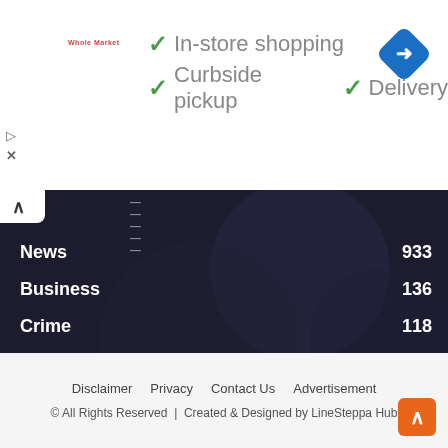[Figure (screenshot): Advertisement banner with Whole Market logo, checkmarks for In-store shopping, Curbside pickup, and Delivery, plus a blue navigation icon]
News 933
Business 136
Crime 118
Health 112
Politics 105
Education 99
Disclaimer | Privacy | Contact Us | Advertisement
© All Rights Reserved | Created & Designed by LineSteppa Hub